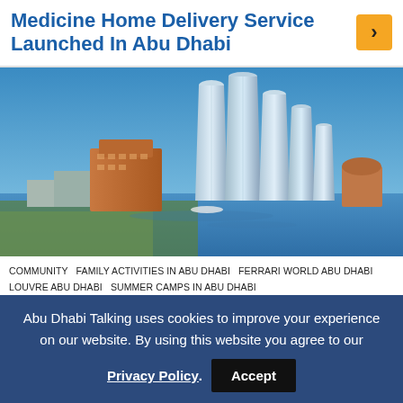Medicine Home Delivery Service Launched In Abu Dhabi
[Figure (photo): Aerial/waterfront view of Abu Dhabi skyline featuring tall modern glass towers and the Emirates Palace hotel area, with blue water in the foreground and blue sky above.]
COMMUNITY   FAMILY ACTIVITIES IN ABU DHABI   FERRARI WORLD ABU DHABI   LOUVRE ABU DHABI   SUMMER CAMPS IN ABU DHABI   THINGS TO DO IN ABU DHABI   WARNER BROS. WORLD™ ABU DHABI   ZAYED SPORTS CITY
Abu Dhabi Talking uses cookies to improve your experience on our website. By using this website you agree to our Privacy Policy. Accept